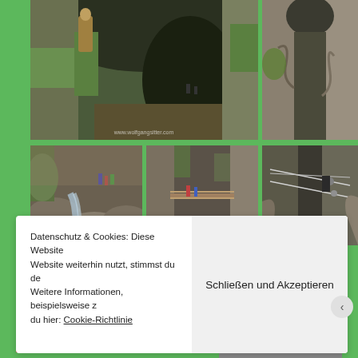[Figure (photo): Grid of 5 nature/gorge photos. Top row: large photo of cave/gorge entrance with wooden figure statue and green moss-covered walls, watermarked www.wolfgangsitter.com; smaller photo of rocky gorge narrow passage. Bottom row: three photos of mountain gorge with rushing water, wooden walkways/bridges, and rope/cable systems through canyon.]
Datenschutz & Cookies: Diese Website Website weiterhin nutzt, stimmst du de Weitere Informationen, beispielsweise z du hier: Cookie-Richtlinie